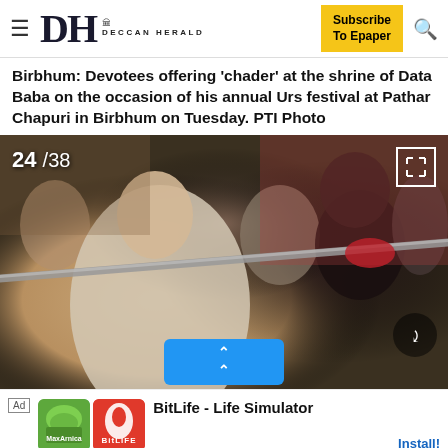DH DECCAN HERALD — Subscribe To Epaper
Birbhum: Devotees offering 'chader' at the shrine of Data Baba on the occasion of his annual Urs festival at Pathar Chapuri in Birbhum on Tuesday. PTI Photo
[Figure (photo): Photo showing devotees offering chader at the shrine of Data Baba. Counter shows 24/38. Group of people visible including a woman in white embroidered salwar kameez holding a staff/chader diagonally, surrounded by other devotees.]
BitLife - Life Simulator